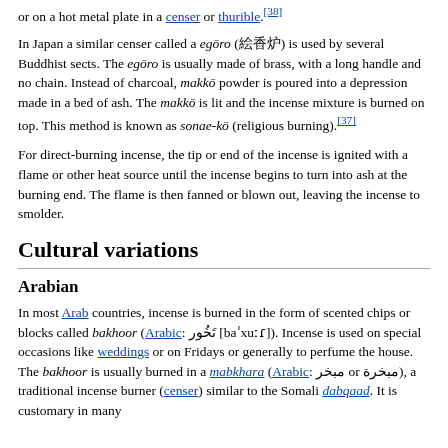or on a hot metal plate in a censer or thurible.[38]
In Japan a similar censer called a egōro (絵香炉) is used by several Buddhist sects. The egōro is usually made of brass, with a long handle and no chain. Instead of charcoal, makkō powder is poured into a depression made in a bed of ash. The makkō is lit and the incense mixture is burned on top. This method is known as sonae-kō (religious burning).[37]
For direct-burning incense, the tip or end of the incense is ignited with a flame or other heat source until the incense begins to turn into ash at the burning end. The flame is then fanned or blown out, leaving the incense to smolder.
Cultural variations
Arabian
In most Arab countries, incense is burned in the form of scented chips or blocks called bakhoor (Arabic: تَخُور [baˈxuːɾ]). Incense is used on special occasions like weddings or on Fridays or generally to perfume the house. The bakhoor is usually burned in a mabkhara (Arabic: مبخر or مبخرة), a traditional incense burner (censer) similar to the Somali dabqaad. It is customary in many